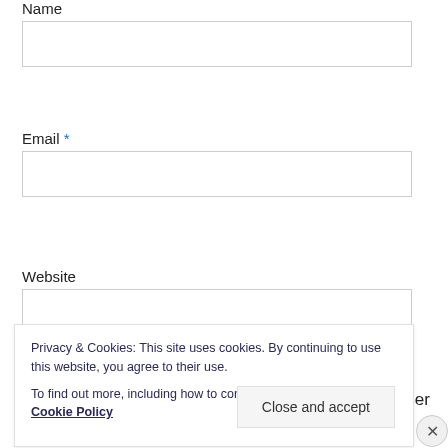Name
Email *
Website
Save my name, email, and website in this browser for
Privacy & Cookies: This site uses cookies. By continuing to use this website, you agree to their use.
To find out more, including how to control cookies, see here: Cookie Policy
Close and accept